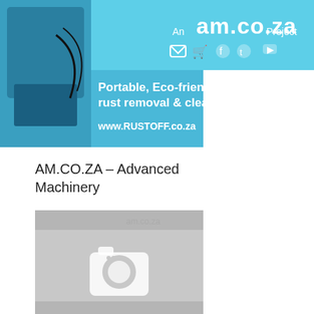[Figure (screenshot): Website header banner showing am.co.za logo with social media icons (email, cart, facebook, twitter, youtube) on a light blue background, and an advertisement for RUSTOFF portable eco-friendly rust removal and cleaning product with image of cleaning machine on left side. Text: Portable, Eco-friendly, rust removal & cleaning. www.RUSTOFF.co.za]
AM.CO.ZA – Advanced Machinery
[Figure (photo): Placeholder image (grey background with white camera icon) with am.co.za watermark in top right corner]